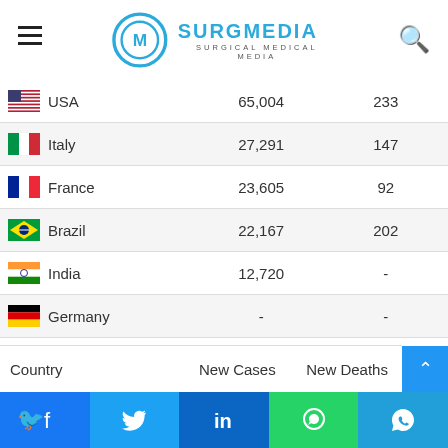SurgMedia – Surgical Medical Media
| Country | New Cases | New Deaths |
| --- | --- | --- |
| USA | 65,004 | 233 |
| Italy | 27,291 | 147 |
| France | 23,605 | 92 |
| Brazil | 22,167 | 202 |
| India | 12,720 | - |
| Germany | - | - |
| UK | - | - |
Facebook | Twitter | LinkedIn | WhatsApp | Telegram